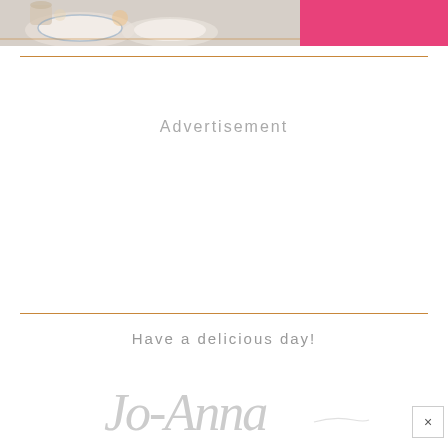[Figure (photo): Top portion of a food/lifestyle blog page showing a cropped photo of dishes/tableware with a pink banner on the right side.]
Advertisement
Have a delicious day!
[Figure (illustration): Cursive script signature reading 'Jo-Anna' in light gray decorative font.]